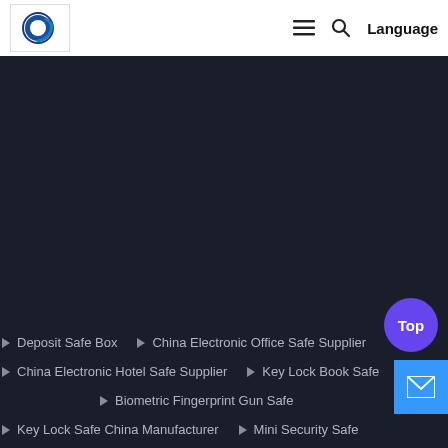[Figure (logo): Company logo with blue swirl R/H letter mark on white background]
≡  🔍  Language
▶ Deposit Safe Box
▶ China Electronic Office Safe Supplier
▶ China Electronic Hotel Safe Supplier
▶ Key Lock Book Safe
▶ Biometric Fingerprint Gun Safe
▶ Key Lock Safe China Manufacturer
▶ Mini Security Safe